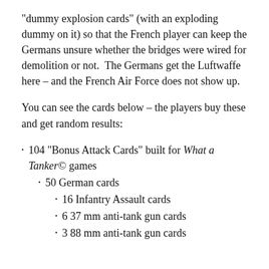“dummy explosion cards” (with an exploding dummy on it) so that the French player can keep the Germans unsure whether the bridges were wired for demolition or not.  The Germans get the Luftwaffe here – and the French Air Force does not show up.
You can see the cards below – the players buy these and get random results:
104 “Bonus Attack Cards” built for What a Tanker© games
50 German cards
16 Infantry Assault cards
6 37 mm anti-tank gun cards
3 88 mm anti-tank gun cards